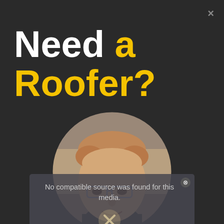×
Need a Roofer?
[Figure (photo): Circular portrait of a middle-aged man with reddish-blonde hair and glasses, smiling, with a media error overlay reading 'No compatible source was found for this media.' and an X button and close icon overlay.]
No compatible source was found for this media.